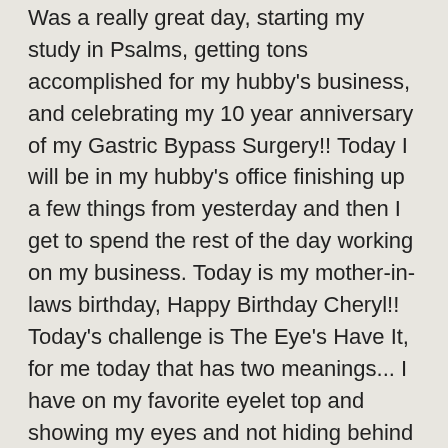Was a really great day, starting my study in Psalms, getting tons accomplished for my hubby's business, and celebrating my 10 year anniversary of my Gastric Bypass Surgery!! Today I will be in my hubby's office finishing up a few things from yesterday and then I get to spend the rest of the day working on my business. Today is my mother-in-laws birthday, Happy Birthday Cheryl!! Today's challenge is The Eye's Have It, for me today that has two meanings... I have on my favorite eyelet top and showing my eyes and not hiding behind my sunglasses. I have always thought my eyes was one of my best features and I spend most of my time in the morning when putting on my makeup on my eyes. Have a really great Tuesday!!   Transform Your Image 1 Outfit at Time!!
Top :: Black leaf and eyelet cap sleeve top – Talbots –